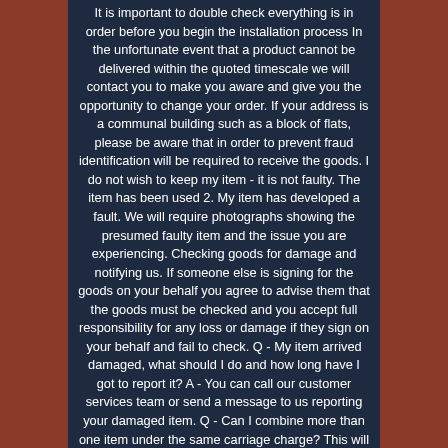It is important to double check everything is in order before you begin the installation process In the unfortunate event that a product cannot be delivered within the quoted timescale we will contact you to make you aware and give you the opportunity to change your order. If your address is a communal building such as a block of flats, please be aware that in order to prevent fraud identification will be required to receive the goods. I do not wish to keep my item - it is not faulty. The item has been used 2. My item has developed a fault. We will require photographs showing the presumed faulty item and the issue you are experiencing. Checking goods for damage and notifying us. If someone else is signing for the goods on your behalf you agree to advise them that the goods must be checked and you accept full responsibility for any loss or damage if they sign on your behalf and fail to check. Q - My item arrived damaged, what should I do and how long have I got to report it? A - You can call our customer services team or send a message to us reporting your damaged item. Q - Can I combine more than one item under the same carriage charge? This will mean you only pay one carriage charge. If you pay for each item individually then you will pay carriage for each item. BUT PLEASE DO NOT LEAVE ANY ITEMS AWAITING FOR MORE THAN A...